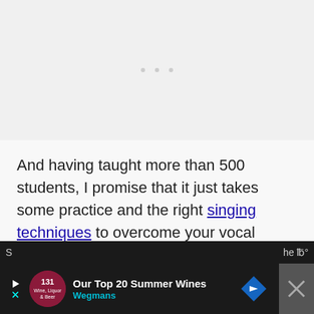[Figure (other): Blank/loading ad placeholder area at the top of the page]
And having taught more than 500 students, I promise that it just takes some practice and the right singing techniques to overcome your vocal break and sing stronger than ever.
[Figure (other): Advertisement banner at bottom: 'Our Top 20 Summer Wines - Wegmans' with logo, play button, arrow icon, and close button on dark background]